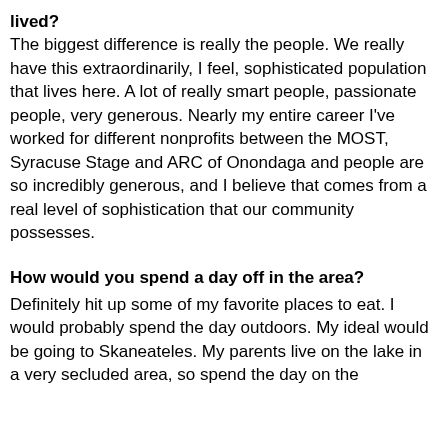lived? The biggest difference is really the people. We really have this extraordinarily, I feel, sophisticated population that lives here. A lot of really smart people, passionate people, very generous. Nearly my entire career I've worked for different nonprofits between the MOST, Syracuse Stage and ARC of Onondaga and people are so incredibly generous, and I believe that comes from a real level of sophistication that our community possesses.
How would you spend a day off in the area?
Definitely hit up some of my favorite places to eat. I would probably spend the day outdoors. My ideal would be going to Skaneateles. My parents live on the lake in a very secluded area, so spend the day on the